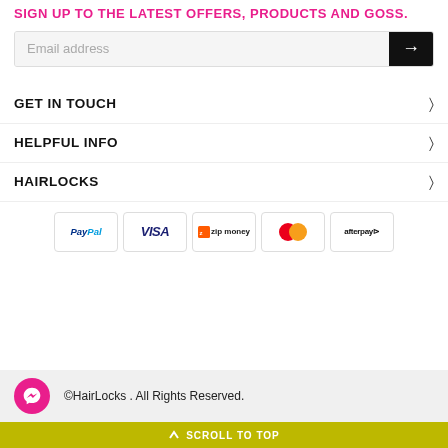SIGN UP TO THE LATEST OFFERS, PRODUCTS AND GOSS.
[Figure (screenshot): Email address input field with black arrow submit button]
GET IN TOUCH
HELPFUL INFO
HAIRLOCKS
[Figure (infographic): Payment method logos: PayPal, VISA, zip money, Mastercard, afterpay]
©HairLocks . All Rights Reserved.
SCROLL TO TOP